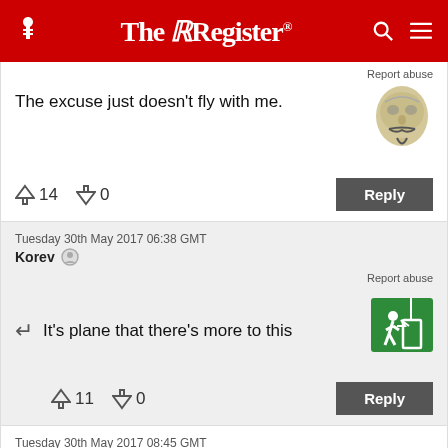The Register
Report abuse
The excuse just doesn't fly with me.
↑14  ↓0
Reply
Tuesday 30th May 2017 06:38 GMT
Korev
Report abuse
It's plane that there's more to this
↑11  ↓0
Reply
Tuesday 30th May 2017 08:45 GMT
Dan 55
Report abuse